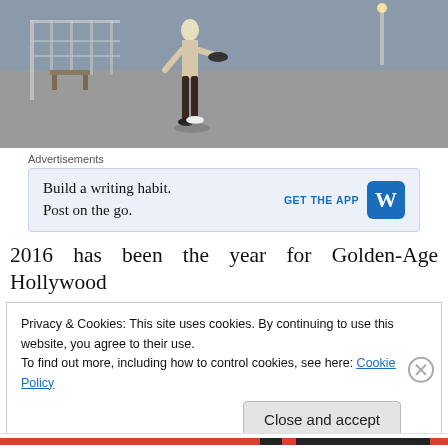[Figure (photo): A person walking on a boardwalk or pier, holding a hat, wearing dark pants and a light shirt, with railings and pathway visible in the background.]
Advertisements
Build a writing habit.
Post on the go.
GET THE APP [WordPress logo]
2016 has been the year for Golden-Age Hollywood
Privacy & Cookies: This site uses cookies. By continuing to use this website, you agree to their use.
To find out more, including how to control cookies, see here: Cookie Policy
Close and accept